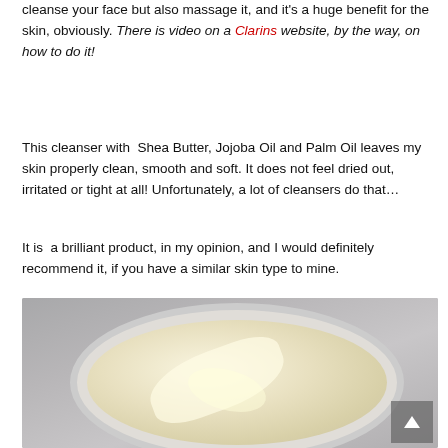cleanse your face but also massage it, and it's a huge benefit for the skin, obviously. There is video on a Clarins website, by the way, on how to do it!
This cleanser with Shea Butter, Jojoba Oil and Palm Oil leaves my skin properly clean, smooth and soft. It does not feel dried out, irritated or tight at all! Unfortunately, a lot of cleansers do that...
It is a brilliant product, in my opinion, and I would definitely recommend it, if you have a similar skin type to mine.
[Figure (photo): Open jar of white/cream coloured cleansing balm product photographed from above on a grey background, with a scroll-to-top button in the lower right corner]